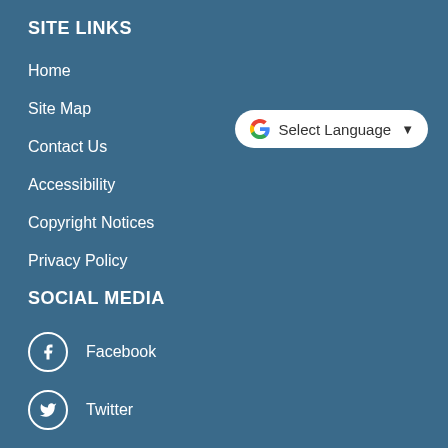SITE LINKS
Home
Site Map
Contact Us
Accessibility
Copyright Notices
Privacy Policy
[Figure (screenshot): Google Translate widget button showing Google G logo and 'Select Language' dropdown]
SOCIAL MEDIA
Facebook
Twitter
Instagram
LinkedIn